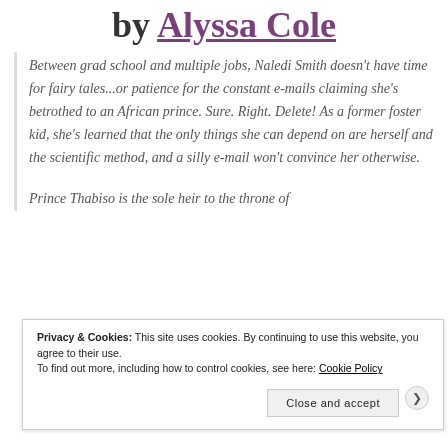by Alyssa Cole
Between grad school and multiple jobs, Naledi Smith doesn't have time for fairy tales...or patience for the constant e-mails claiming she's betrothed to an African prince. Sure. Right. Delete! As a former foster kid, she's learned that the only things she can depend on are herself and the scientific method, and a silly e-mail won't convince her otherwise.
Prince Thabiso is the sole heir to the throne of
Privacy & Cookies: This site uses cookies. By continuing to use this website, you agree to their use.
To find out more, including how to control cookies, see here: Cookie Policy
Close and accept